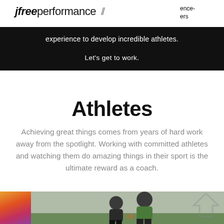jfreeperformance
experience to develop incredible athletes.

Let's get to work.
Athletes
Achieving great things comes from years of hard work away from the spotlight. Working with committed athletes and watching them do amazing things in their sport is the ultimate reward as a coach.
[Figure (photo): Photo of rugby players in action, one wearing a green jersey, another in dark kit, mid-game tackle or pass. Partially visible colorful image on the left edge.]